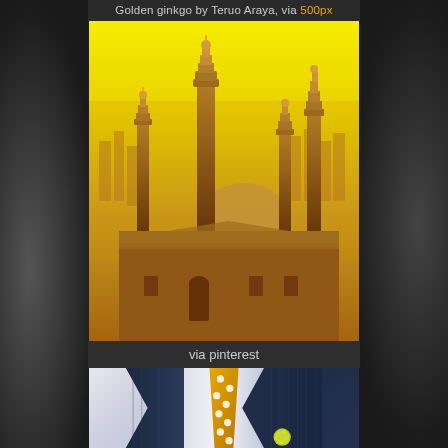Golden ginkgo by Teruo Araya, via 500px
[Figure (photo): Aerial view of a mosque with minarets bathed in golden yellow light, city skyline in the background, warm golden haze atmosphere]
via pinterest
[Figure (photo): Close-up of a man wearing a navy pinstripe suit with a yellow polka dot tie and white dress shirt, with a small yellow boutonniere]